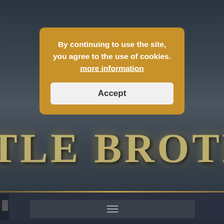[Figure (screenshot): Battle Brothers game website screenshot showing dark fantasy game header with gold metallic text 'TLE BROTH' (partial view of 'BATTLE BROTHERS'), a cookie consent popup overlay, a navigation hamburger menu, a FORUMS breadcrumb section, and a post card with a game character avatar.]
By continuing to use the site, you agree to the use of cookies. more information
Accept
FORUMS
Home › Forums › plummel